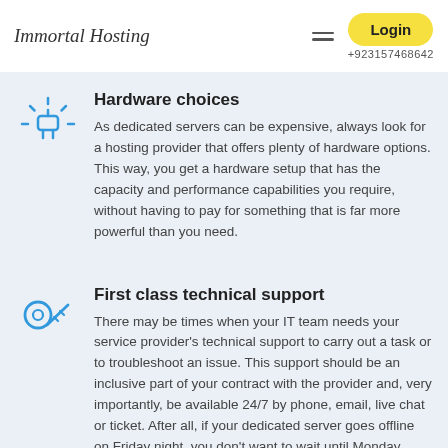Immortal Hosting   Login   +923157468642
Hardware choices
As dedicated servers can be expensive, always look for a hosting provider that offers plenty of hardware options. This way, you get a hardware setup that has the capacity and performance capabilities you require, without having to pay for something that is far more powerful than you need.
First class technical support
There may be times when your IT team needs your service provider's technical support to carry out a task or to troubleshoot an issue. This support should be an inclusive part of your contract with the provider and, very importantly, be available 24/7 by phone, email, live chat or ticket. After all, if your dedicated server goes offline on Friday night, you don't want to wait until Monday before it gets fixed.